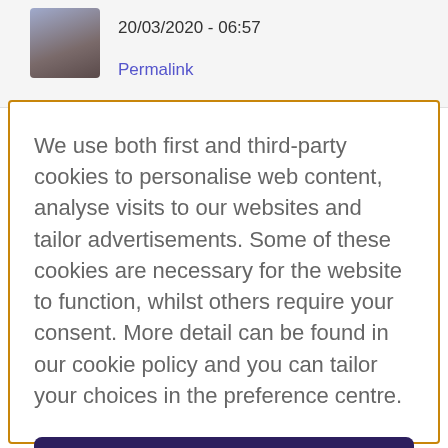20/03/2020 - 06:57
Permalink
We use both first and third-party cookies to personalise web content, analyse visits to our websites and tailor advertisements. Some of these cookies are necessary for the website to function, whilst others require your consent. More detail can be found in our cookie policy and you can tailor your choices in the preference centre.
Accept All Cookies
Cookies Settings